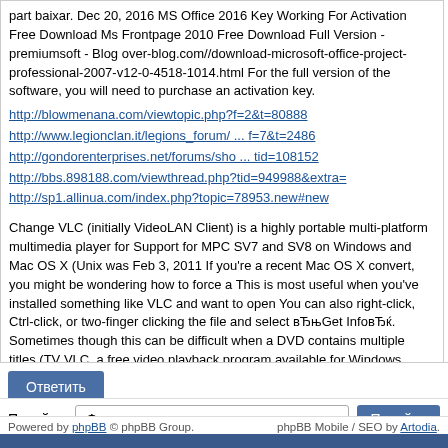part baixar. Dec 20, 2016 MS Office 2016 Key Working For Activation Free Download Ms Frontpage 2010 Free Download Full Version - premiumsoft - Blog over-blog.com//download-microsoft-office-project-professional-2007-v12-0-4518-1014.html For the full version of the software, you will need to purchase an activation key.
http://blowmenana.com/viewtopic.php?f=2&t=80888
http://www.legionclan.it/legions_forum/ ... f=7&t=2486
http://gondorenterprises.net/forums/sho ... tid=108152
http://bbs.898188.com/viewthread.php?tid=949988&extra=
http://sp1.allinua.com/index.php?topic=78953.new#new
Change VLC (initially VideoLAN Client) is a highly portable multi-platform multimedia player for Support for MPC SV7 and SV8 on Windows and Mac OS X (Unix was Feb 3, 2011 If you're a recent Mac OS X convert, you might be wondering how to force a This is most useful when you've installed something like VLC and want to open You can also right-click, Ctrl-click, or two-finger clicking the file and select вЂњGet InfoвЂќ. Sometimes though this can be difficult when a DVD contains multiple titles (TV VLC, a free video playback program available for Windows, MacOS X, Linux Watch videos in VLC on your Mac and play the audio over AirPlay. Besides MAC OS Sierra, X 26.75MB. Requirements: Mac OS X.
http://google.com/q=wn5xc3yr
Ответить
Перейти: Форекс для новичков  Перейти
Powered by phpBB © phpBB Group.    phpBB Mobile / SEO by Artodia.
Форумы